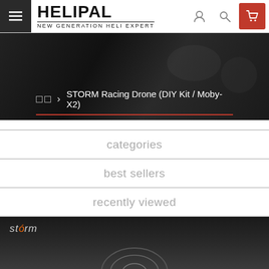HELIPAL — NEW GENERATION HELI EXPERT
[Figure (screenshot): Hero banner with dark background showing drone machinery, breadcrumb navigation: home squares > STORM Racing Drone (DIY Kit / Moby-X2) with red underline]
categories
best sellers
recently viewed
[Figure (photo): Storm brand product image on dark gradient background showing top of a drone with Storm logo in top-left corner]